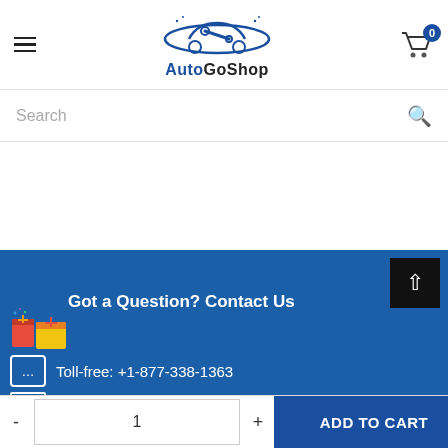[Figure (logo): AutoGoShop logo with car silhouette and wrench icon in blue]
Search
Got a Question? Contact Us
Toll-free: +1-877-338-1363
info@Autogoshop.com
The cookie settings on this website are set to 'allow all cookies' to give you the very best experience. Please click Accept Cookies to continue to use the site.